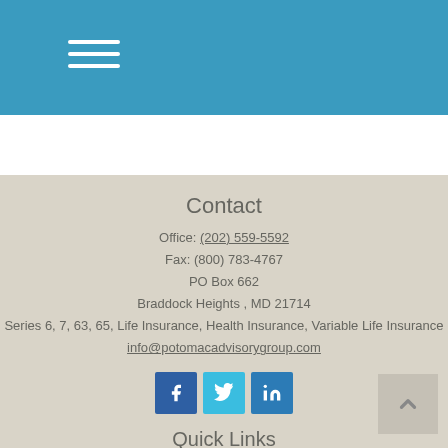[Figure (other): Blue header bar with hamburger menu icon (three horizontal white lines)]
Contact
Office: (202) 559-5592
Fax: (800) 783-4767
PO Box 662
Braddock Heights , MD 21714
Series 6, 7, 63, 65, Life Insurance, Health Insurance, Variable Life Insurance
info@potomacadvisorygroup.com
[Figure (other): Social media icons: Facebook, Twitter, LinkedIn]
Quick Links
Retirement
Investment